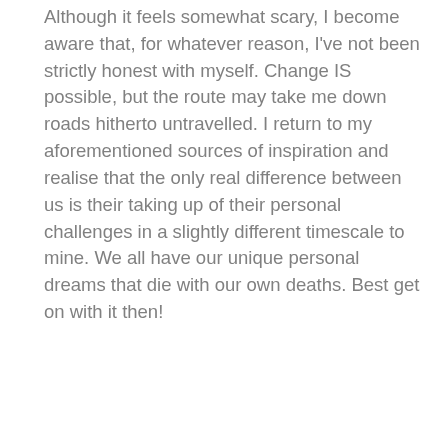Although it feels somewhat scary, I become aware that, for whatever reason, I've not been strictly honest with myself. Change IS possible, but the route may take me down roads hitherto untravelled. I return to my aforementioned sources of inspiration and realise that the only real difference between us is their taking up of their personal challenges in a slightly different timescale to mine. We all have our unique personal dreams that die with our own deaths. Best get on with it then!